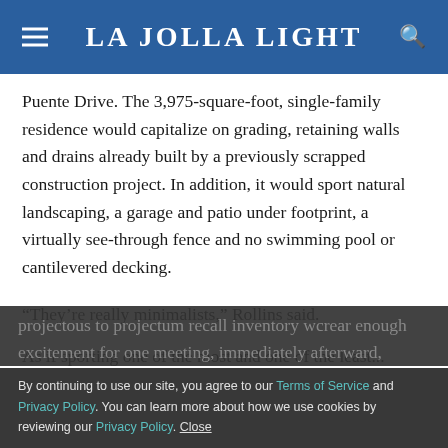La Jolla Light
Puente Drive. The 3,975-square-foot, single-family residence would capitalize on grading, retaining walls and drains already built by a previously scrapped construction project. In addition, it would sport natural landscaping, a garage and patio under footprint, a virtually see-through fence and no swimming pool or cantilevered decking.
“They’re really minimalists,” Rollins said.
As if sporting one of the most and one of the least...
By continuing to use our site, you agree to our Terms of Service and Privacy Policy. You can learn more about how we use cookies by reviewing our Privacy Policy. Close